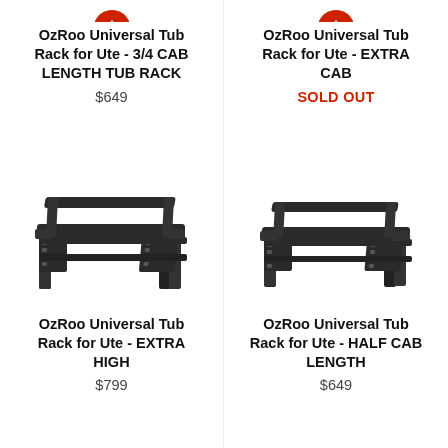[Figure (photo): Partial red heart/location icon at top of left column, cropped]
[Figure (photo): Partial red heart/location icon at top of right column, cropped]
OzRoo Universal Tub Rack for Ute - 3/4 CAB LENGTH TUB RACK
$649
OzRoo Universal Tub Rack for Ute - EXTRA CAB
SOLD OUT
[Figure (photo): Black steel tub rack for a ute, extra high variant, isometric view on white background]
OzRoo Universal Tub Rack for Ute - EXTRA HIGH
$799
[Figure (photo): Black steel tub rack for a ute, half cab length variant, isometric view on white background]
OzRoo Universal Tub Rack for Ute - HALF CAB LENGTH
$649